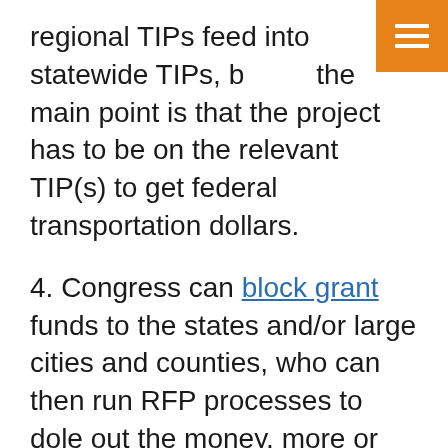regional TIPs feed into statewide TIPs, but the main point is that the project has to be on the relevant TIP(s) to get federal transportation dollars.
4. Congress can block grant funds to the states and/or large cities and counties, who can then run RFP processes to dole out the money, more or less in the way that Community Development Block Grant (CDBG) funds are distributed. For that matter, Congress could simple dump money into the CDBG pipeline, since every eligible